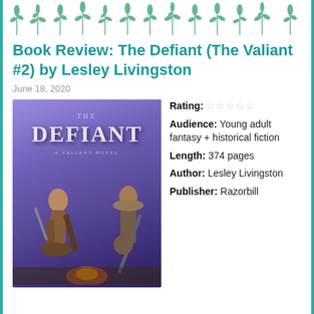[Figure (illustration): Decorative row of stylized green plant/leaf motifs across the top of the page]
Book Review: The Defiant (The Valiant #2) by Lesley Livingston
June 18, 2020
[Figure (illustration): Book cover of 'The Defiant: A Valiant Novel' showing two female warriors fighting, with a purple/fantasy background]
Rating: ☆☆☆☆☆
Audience: Young adult fantasy + historical fiction
Length: 374 pages
Author: Lesley Livingston
Publisher: Razorbill